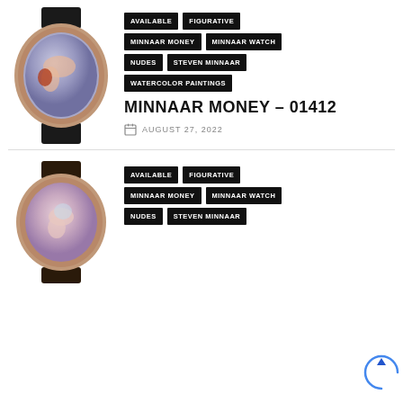[Figure (photo): Watch with painted nude figure on dial, dark strap, copper/rose gold case]
AVAILABLE
FIGURATIVE
MINNAAR MONEY
MINNAAR WATCH
NUDES
STEVEN MINNAAR
WATERCOLOR PAINTINGS
MINNAAR MONEY – 01412
AUGUST 27, 2022
[Figure (photo): Second watch with painted nude female figure on dial, dark strap, copper/rose gold case]
AVAILABLE
FIGURATIVE
MINNAAR MONEY
MINNAAR WATCH
NUDES
STEVEN MINNAAR